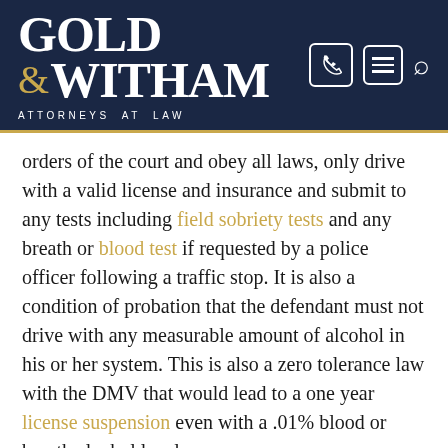Gold & Witham Attorneys at Law
orders of the court and obey all laws, only drive with a valid license and insurance and submit to any tests including field sobriety tests and any breath or blood test if requested by a police officer following a traffic stop. It is also a condition of probation that the defendant must not drive with any measurable amount of alcohol in his or her system. This is also a zero tolerance law with the DMV that would lead to a one year license suspension even with a .01% blood or breath alcohol level.
Common causes of a probation violation include the